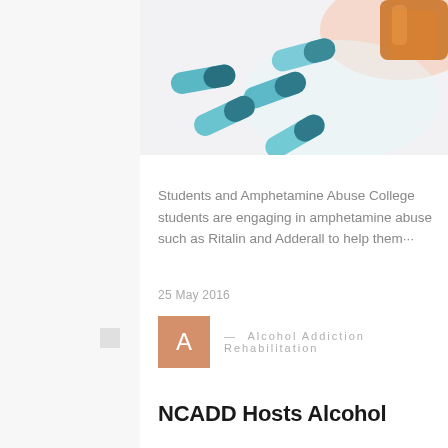[Figure (photo): Teal and light blue capsule pills spilling out of an amber prescription bottle against a white background]
Students and Amphetamine Abuse College students are engaging in amphetamine abuse such as Ritalin and Adderall to help them···
25 May 2016
A — Alcohol Addiction Rehabilitation
NCADD Hosts Alcohol